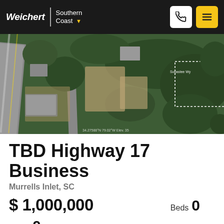Weichert | Southern Coast
[Figure (photo): Aerial satellite view of property location along Highway 17 Business in Murrells Inlet, SC, showing roads, trees, and surrounding structures.]
TBD Highway 17 Business
Murrells Inlet, SC
$ 1,000,000   Beds 0
Baths 0